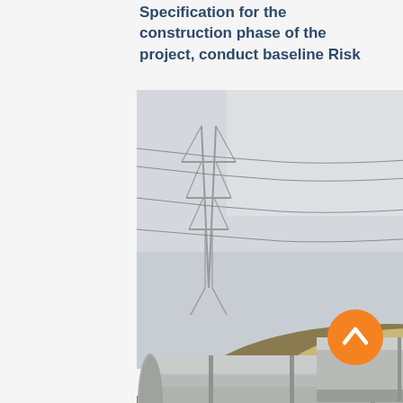Specification for the construction phase of the project, conduct baseline Risk
se of the and all sign risk nd uction reviews
[Figure (photo): Large diameter pipeline (grey pipes) running along a grassy embankment with a power line pylon visible in the background against an overcast sky.]